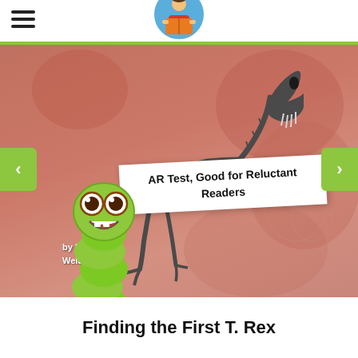[Figure (screenshot): Educational reading app interface showing a book cover for 'Finding the First T. Rex' with a T-Rex skeleton image, a green worm mascot character, navigation arrows, and an overlay label reading 'AR Test, Good for Reluctant Readers']
AR Test, Good for Reluctant Readers
Finding the First T. Rex